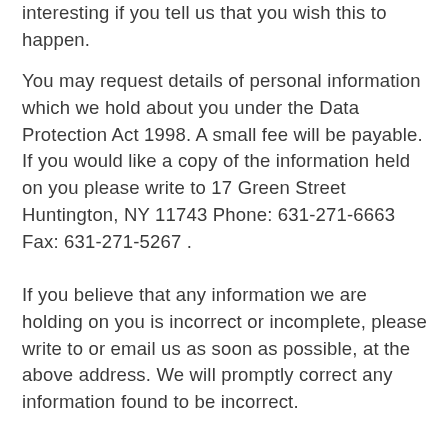interesting if you tell us that you wish this to happen.
You may request details of personal information which we hold about you under the Data Protection Act 1998. A small fee will be payable. If you would like a copy of the information held on you please write to 17 Green Street Huntington, NY 11743 Phone: 631-271-6663 Fax: 631-271-5267 .
If you believe that any information we are holding on you is incorrect or incomplete, please write to or email us as soon as possible, at the above address. We will promptly correct any information found to be incorrect.